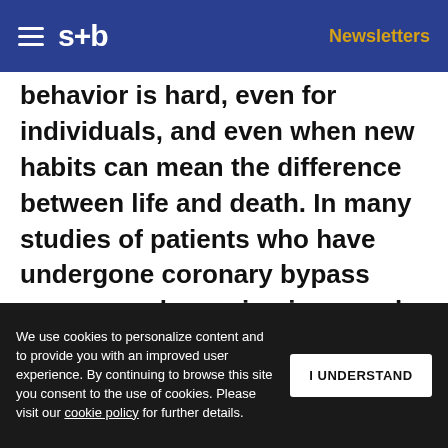s+b  Newsletters
behavior is hard, even for individuals, and even when new habits can mean the difference between life and death. In many studies of patients who have undergone coronary bypass surgery, only one in nine people, on average, adopts healthier day-to-day habits. The others' lives are at significantly greater risk unless they exercise and lose weight, and they clearly see the value of changing their behavior. But they don't follow through. So what about
We use cookies to personalize content and to provide you with an improved user experience. By continuing to browse this site you consent to the use of cookies. Please visit our cookie policy for further details.